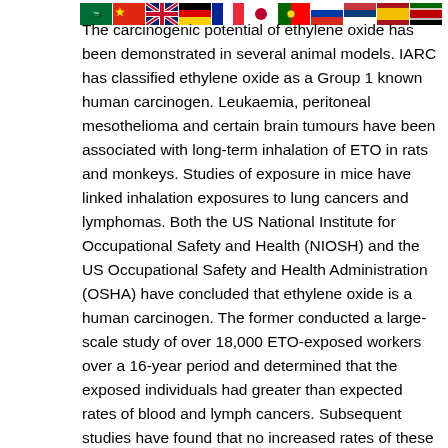[Figure (other): Row of country flag icons: Saudi Arabia, China, United Kingdom, Germany, France, Japan, Portugal, Russia, Serbia, Spain, Kenya]
The carcinogenic potential of ethylene oxide has been demonstrated in several animal models. IARC has classified ethylene oxide as a Group 1 known human carcinogen. Leukaemia, peritoneal mesothelioma and certain brain tumours have been associated with long-term inhalation of ETO in rats and monkeys. Studies of exposure in mice have linked inhalation exposures to lung cancers and lymphomas. Both the US National Institute for Occupational Safety and Health (NIOSH) and the US Occupational Safety and Health Administration (OSHA) have concluded that ethylene oxide is a human carcinogen. The former conducted a large-scale study of over 18,000 ETO-exposed workers over a 16-year period and determined that the exposed individuals had greater than expected rates of blood and lymph cancers. Subsequent studies have found that no increased rates of these cancers have been associated with exposed workers. One of the major problems with these studies, and a possible reason for their contradictory nature, has been the inability to accurately quantify levels of exposure. For example, much of